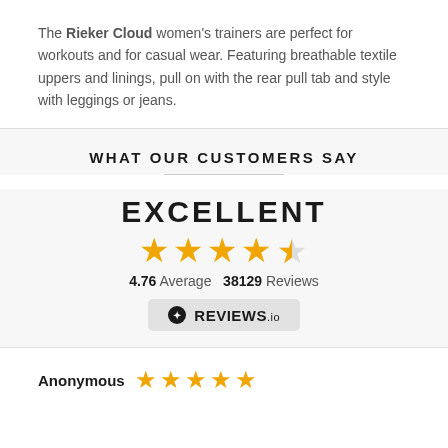The Rieker Cloud women's trainers are perfect for workouts and for casual wear. Featuring breathable textile uppers and linings, pull on with the rear pull tab and style with leggings or jeans.
WHAT OUR CUSTOMERS SAY
[Figure (infographic): Review rating display showing EXCELLENT with 4.76 out of 5 stars (38129 reviews) from REVIEWS.io]
Anonymous ★★★★★